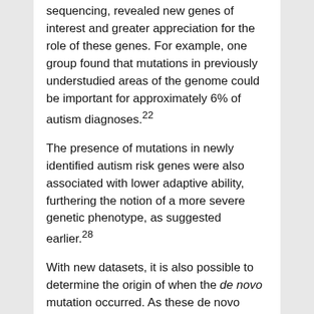sequencing, revealed new genes of interest and greater appreciation for the role of these genes. For example, one group found that mutations in previously understudied areas of the genome could be important for approximately 6% of autism diagnoses.22
The presence of mutations in newly identified autism risk genes were also associated with lower adaptive ability, furthering the notion of a more severe genetic phenotype, as suggested earlier.28
With new datasets, it is also possible to determine the origin of when the de novo mutation occurred. As these de novo mutations occur in a small percentage of people with autism, large numbers are needed to better understand their influence and role in diagnosis. These different types of mutations can occur prior to the formation of the embryo, or in the post-zygotic period after the formation of the embryo. The timing of these mutations seems to have influence over behavioral features and has also been linked to the development of specific brain regions, specifically the amygdala.24,29 There is also preliminary evidence to suggest that individuals with these post-zygotic mutations are less likely to be intellectually impaired